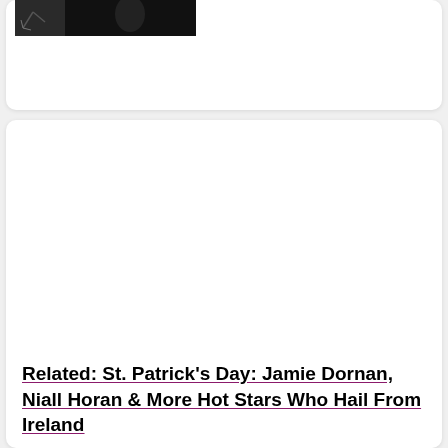[Figure (photo): Small thumbnail image, black and white photo, partially visible at top left of card]
Related: St. Patrick's Day: Jamie Dornan, Niall Horan & More Hot Stars Who Hail From Ireland